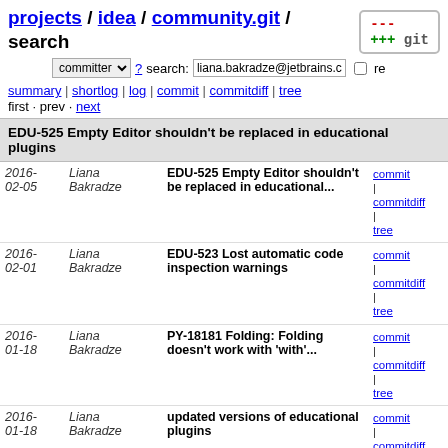projects / idea / community.git / search
committer search: liana.bakradze@jetbrains.co re
summary | shortlog | log | commit | commitdiff | tree
first · prev · next
EDU-525 Empty Editor shouldn't be replaced in educational plugins
| Date | Author | Message | Links |
| --- | --- | --- | --- |
| 2016-02-05 | Liana Bakradze | EDU-525 Empty Editor shouldn't be replaced in educational... | commit | commitdiff | tree |
| 2016-02-01 | Liana Bakradze | EDU-523 Lost automatic code inspection warnings | commit | commitdiff | tree |
| 2016-01-18 | Liana Bakradze | PY-18181 Folding: Folding doesn't work with 'with'... | commit | commitdiff | tree |
| 2016-01-18 | Liana Bakradze | updated versions of educational plugins | commit | commitdiff | tree |
| 2015-12-17 | liana.bakradze | Merge branches 'master' and 'pycharm/folding' of git... | commit | commitdiff | tree |
| 2015-12-08 | Liana Bakradze | fixed typo | commit | commitdiff | tree |
| 2015-12-08 | Liana Bakradze | EDU-501 NPE on Startup | commit | commitdiff | tree |
| 2015-12-07 | Liana Bakradze | added ability to override check action | commit | commitdiff | tree |